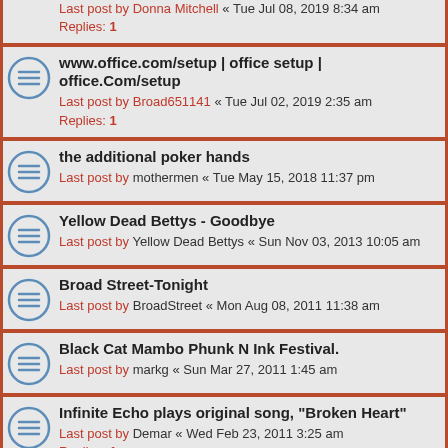Last post by Donna Mitchell « Tue Jul 08, 2019 8:34 am
Replies: 1
www.office.com/setup | office setup | office.Com/setup
Last post by Broad651141 « Tue Jul 02, 2019 2:35 am
Replies: 1
the additional poker hands
Last post by mothermen « Tue May 15, 2018 11:37 pm
Yellow Dead Bettys - Goodbye
Last post by Yellow Dead Bettys « Sun Nov 03, 2013 10:05 am
Broad Street-Tonight
Last post by BroadStreet « Mon Aug 08, 2011 11:38 am
Black Cat Mambo Phunk N Ink Festival.
Last post by markg « Sun Mar 27, 2011 1:45 am
Infinite Echo plays original song, "Broken Heart"
Last post by Demar « Wed Feb 23, 2011 3:25 am
Replies: 1